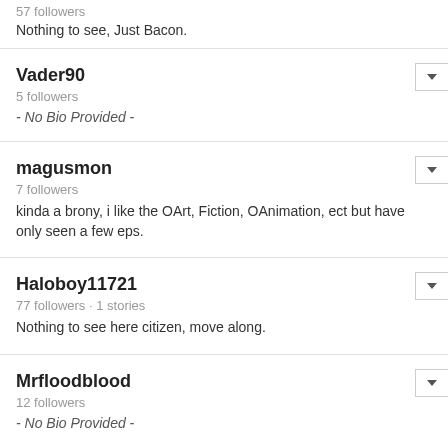57 followers
Nothing to see, Just Bacon.
Vader90
5 followers
- No Bio Provided -
magusmon
7 followers
kinda a brony, i like the OArt, Fiction, OAnimation, ect but have only seen a few eps.
Haloboy11721
77 followers · 1 stories
Nothing to see here citizen, move along.
Mrfloodblood
12 followers
- No Bio Provided -